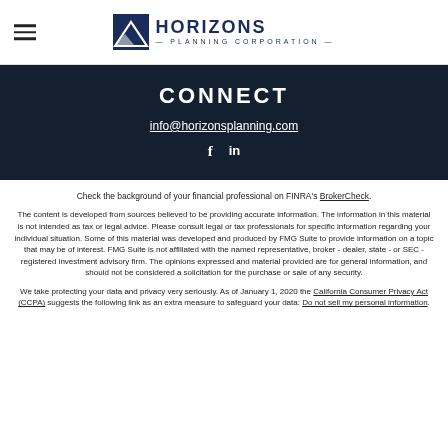Horizons Planning Corporation
CONNECT
info@horizonsplanning.com
f  in
Check the background of your financial professional on FINRA's BrokerCheck.
The content is developed from sources believed to be providing accurate information. The information in this material is not intended as tax or legal advice. Please consult legal or tax professionals for specific information regarding your individual situation. Some of this material was developed and produced by FMG Suite to provide information on a topic that may be of interest. FMG Suite is not affiliated with the named representative, broker - dealer, state - or SEC - registered investment advisory firm. The opinions expressed and material provided are for general information, and should not be considered a solicitation for the purchase or sale of any security.
We take protecting your data and privacy very seriously. As of January 1, 2020 the California Consumer Privacy Act (CCPA) suggests the following link as an extra measure to safeguard your data: Do not sell my personal information.